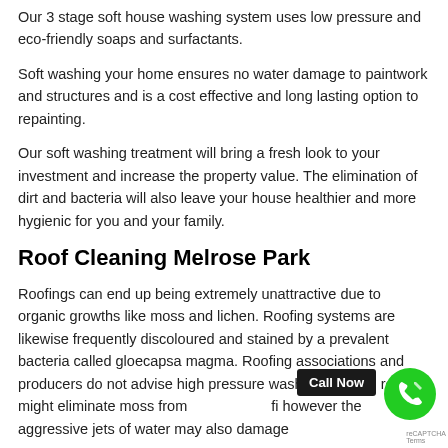Our 3 stage soft house washing system uses low pressure and eco-friendly soaps and surfactants.
Soft washing your home ensures no water damage to paintwork and structures and is a cost effective and long lasting option to repainting.
Our soft washing treatment will bring a fresh look to your investment and increase the property value. The elimination of dirt and bacteria will also leave your house healthier and more hygienic for you and your family.
Roof Cleaning Melrose Park
Roofings can end up being extremely unattractive due to organic growths like moss and lichen. Roofing systems are likewise frequently discoloured and stained by a prevalent bacteria called gloecapsa magma. Roofing associations and producers do not advise high pressure washing to clean roofs. It might eliminate moss from the surface, however the aggressive jets of water may also damage